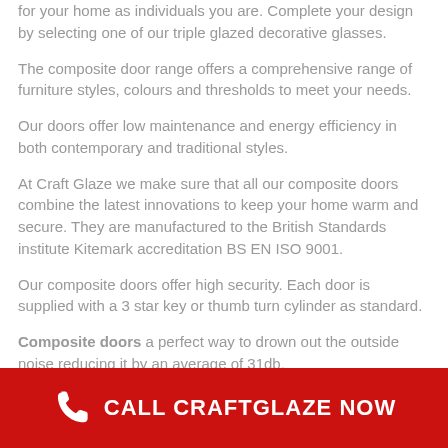for your home as individuals you are. Complete your design by selecting one of our triple glazed decorative glasses.
The composite door range offers a comprehensive range of furniture styles, colours and thresholds to meet your needs.
Our doors offer low maintenance and energy efficiency in both contemporary and traditional styles.
At Craft Glaze we make sure that all our composite doors combine the latest innovations to keep your home warm and secure. They are manufactured to the British Standards institute Kitemark accreditation BS EN ISO 9001.
Our composite doors offer high security. Each door is supplied with a 3 star key or thumb turn cylinder as standard.
Composite doors a perfect way to drown out the outside noise reducing it by an average of 31db.
CALL CRAFTGLAZE NOW